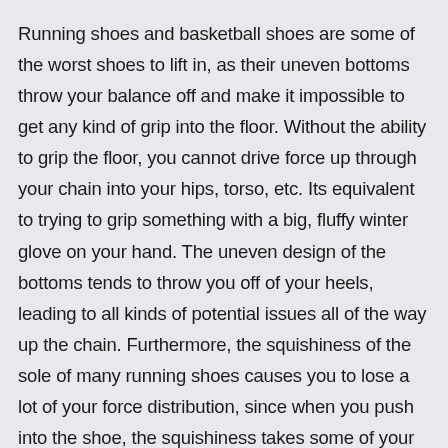Running shoes and basketball shoes are some of the worst shoes to lift in, as their uneven bottoms throw your balance off and make it impossible to get any kind of grip into the floor. Without the ability to grip the floor, you cannot drive force up through your chain into your hips, torso, etc. Its equivalent to trying to grip something with a big, fluffy winter glove on your hand. The uneven design of the bottoms tends to throw you off of your heels, leading to all kinds of potential issues all of the way up the chain. Furthermore, the squishiness of the sole of many running shoes causes you to lose a lot of your force distribution, since when you push into the shoe, the squishiness takes some of your force that you are creating, rather than it transferring directly into the floor. If you are serious about your training, DO NOT wear these types of shoes to lift in.